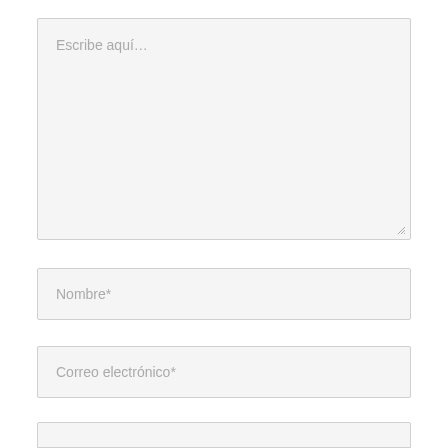Escribe aquí…
Nombre*
Correo electrónico*